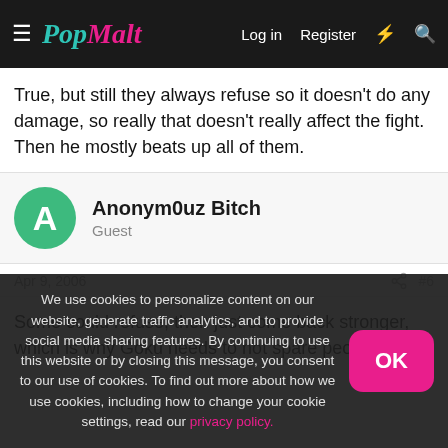PopMalt — Log in  Register
True, but still they always refuse so it doesn't do any damage, so really that doesn't really affect the fight. Then he mostly beats up all of them.
Anonym0uz Bitch
Guest
Apr 9, 2006  #6
Some could refuse, then just come back stronger, which is why Goku needs to not spare people.
We use cookies to personalize content on our website, generate traffic analytics, and to provide social media sharing features. By continuing to use this website or by closing this message, you consent to our use of cookies. To find out more about how we use cookies, including how to change your cookie settings, read our privacy policy.